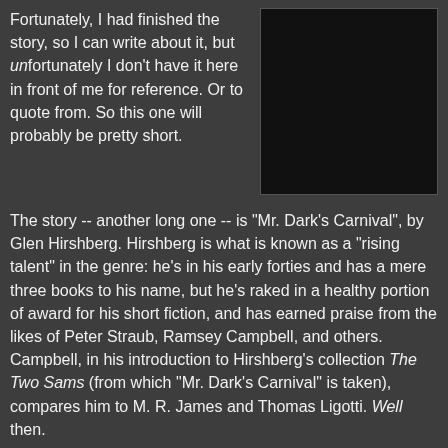Fortunately, I had finished the story, so I can write about it, but unfortunately I don't have it here in front of me for reference. Or to quote from. So this one will probably be pretty short.
[Figure (photo): Dark rectangular image, mostly black, appears to be a book cover or photograph with very low lighting.]
The story -- another long one -- is "Mr. Dark's Carnival", by Glen Hirshberg. Hirshberg is what is known as a "rising talent" in the genre: he's in his early forties and has a mere three books to his name, but he's raked in a healthy portion of award for his short fiction, and has earned praise from the likes of Peter Straub, Ramsey Campbell, and others. Campbell, in his introduction to Hirshberg's collection The Two Sams (from which "Mr. Dark's Carnival" is taken), compares him to M. R. James and Thomas Ligotti. Well then.
As it happens, earlier this year I read Hirshberg's novel, The Snowman's Children. That novel is more of a coming-of-age thriller -- a genre designation I may have just now coined, but